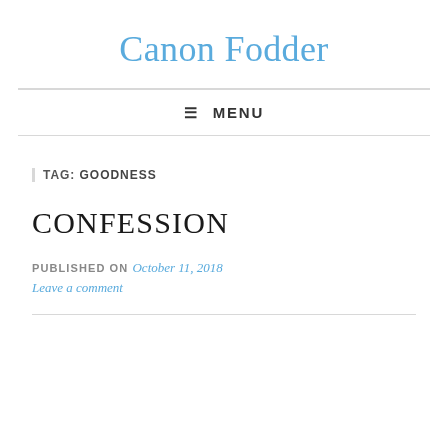Canon Fodder
≡ MENU
TAG: GOODNESS
CONFESSION
PUBLISHED ON October 11, 2018
Leave a comment